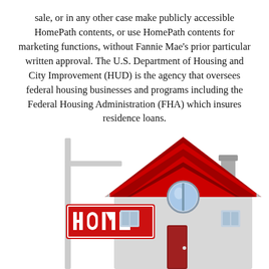sale, or in any other case make publicly accessible HomePath contents, or use HomePath contents for marketing functions, without Fannie Mae's prior particular written approval. The U.S. Department of Housing and City Improvement (HUD) is the agency that oversees federal housing businesses and programs including the Federal Housing Administration (FHA) which insures residence loans.
[Figure (illustration): Illustration of a house icon with a red peaked roof, a circular window with blue glass, a chimney, and in front a real estate sign post with a red sign reading HOME in white bold letters. The house body is silver/light gray.]